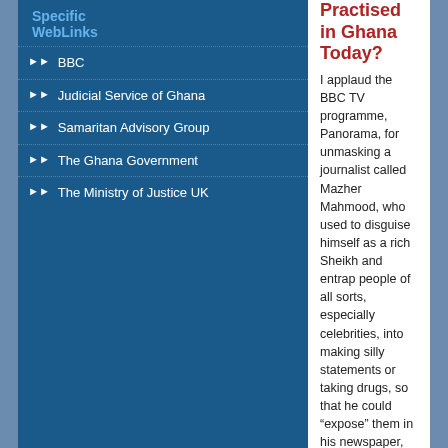Specific WebLinks
BBC
Judicial Service of Ghana
Samaritan Advisory Group
The Ghana Government
The Ministry of Justice UK
Practised in Ghana Today?
I applaud the BBC TV programme, Panorama, for unmasking a journalist called Mazher Mahmood, who used to disguise himself as a rich Sheikh and entrap people of all sorts, especially celebrities, into making silly statements or taking drugs, so that he could “expose” them in his newspaper, the now dead News of The World.cameron-duodu
No comments
Opoku Gakpo writes: Are soldiers the wisest in Africa?
| Print | 
Email
Details
Parent Category: Main
Category: Features
Created on Thursday, 06 November 2014 00:00
Published Date
Hits: 69894